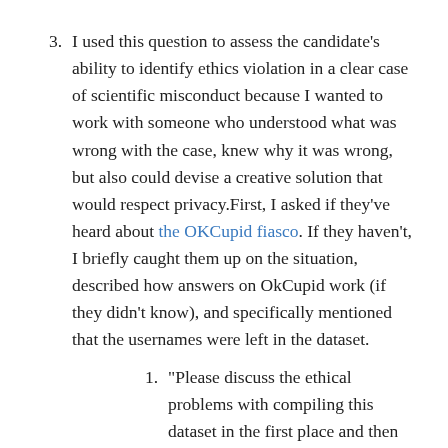I used this question to assess the candidate's ability to identify ethics violation in a clear case of scientific misconduct because I wanted to work with someone who understood what was wrong with the case, knew why it was wrong, but also could devise a creative solution that would respect privacy.First, I asked if they've heard about the OKCupid fiasco. If they haven't, I briefly caught them up on the situation, described how answers on OkCupid work (if they didn't know), and specifically mentioned that the usernames were left in the dataset.
“Please discuss the ethical problems with compiling this dataset in the first place and then publicly releasing it.”